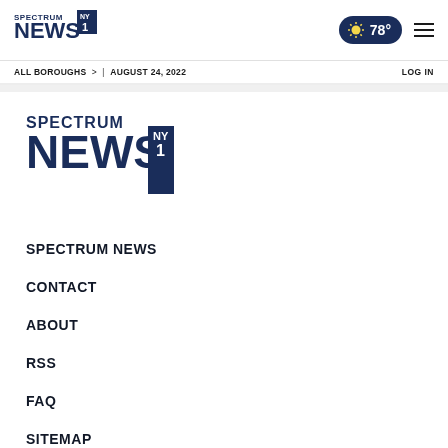Spectrum News NY1 — ALL BOROUGHS | AUGUST 24, 2022 — 78° — LOG IN
[Figure (logo): Spectrum News NY1 large logo]
SPECTRUM NEWS
CONTACT
ABOUT
RSS
FAQ
SITEMAP